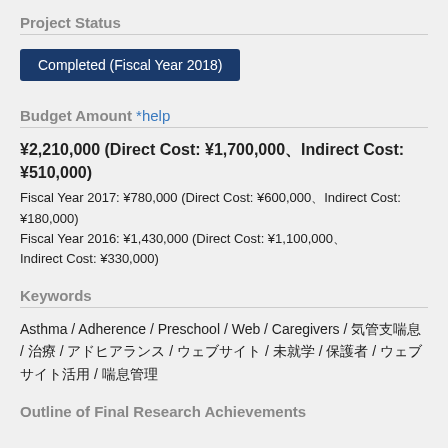Project Status
Completed (Fiscal Year 2018)
Budget Amount *help
¥2,210,000 (Direct Cost: ¥1,700,000、Indirect Cost: ¥510,000)
Fiscal Year 2017: ¥780,000 (Direct Cost: ¥600,000、Indirect Cost: ¥180,000)
Fiscal Year 2016: ¥1,430,000 (Direct Cost: ¥1,100,000、Indirect Cost: ¥330,000)
Keywords
Asthma / Adherence / Preschool / Web / Caregivers / 気管支喘息 / 治療 / アドヒアランス / ウェブサイト / 未就学 / 保護者 / ウェブサイト活用 / 喘息管理
Outline of Final Research Achievements